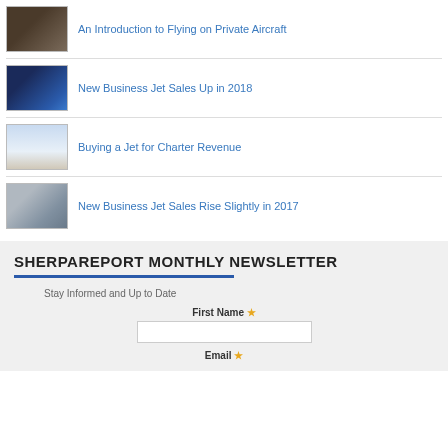An Introduction to Flying on Private Aircraft
New Business Jet Sales Up in 2018
Buying a Jet for Charter Revenue
New Business Jet Sales Rise Slightly in 2017
SHERPAREPORT MONTHLY NEWSLETTER
Stay Informed and Up to Date
First Name *
Email *